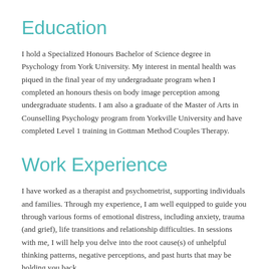Education
I hold a Specialized Honours Bachelor of Science degree in Psychology from York University.  My interest in mental health was piqued in the final year of my undergraduate program when I completed an honours thesis on body image perception among undergraduate students.   I am also a graduate of the Master of Arts in Counselling Psychology program from Yorkville University and have completed Level 1 training in Gottman Method Couples Therapy.
Work Experience
I have worked as a therapist and psychometrist, supporting individuals and families.  Through my experience, I am well equipped to guide you through various forms of emotional distress, including anxiety, trauma (and grief), life transitions and relationship difficulties.  In sessions with me, I will help you delve into the root cause(s) of unhelpful thinking patterns, negative perceptions, and past hurts that may be holding you back.